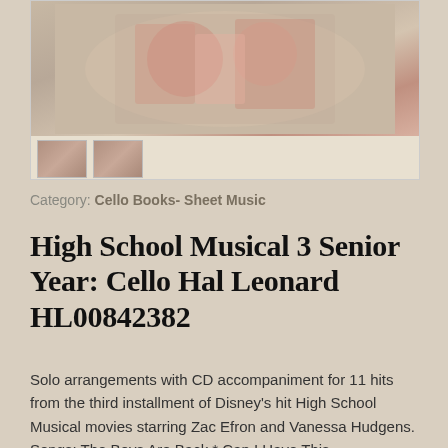[Figure (photo): Photo of High School Musical 3 sheet music book cover with cast members, plus two thumbnail images below]
Category: Cello Books- Sheet Music
High School Musical 3 Senior Year: Cello Hal Leonard HL00842382
Solo arrangements with CD accompaniment for 11 hits from the third installment of Disney's hit High School Musical movies starring Zac Efron and Vanessa Hudgens. Songs: The Boys Are Back * Can I Have This